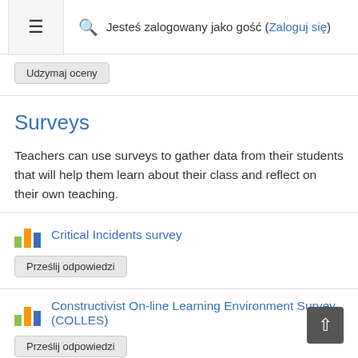≡  🔍  Jesteś zalogowany jako gość (Zaloguj się)
Udzymaj oceny
Surveys
Teachers can use surveys to gather data from their students that will help them learn about their class and reflect on their own teaching.
Critical Incidents survey
Prześlij odpowiedzi
Constructivist On-line Learning Environment Survey (COLLES)
Prześlij odpowiedzi